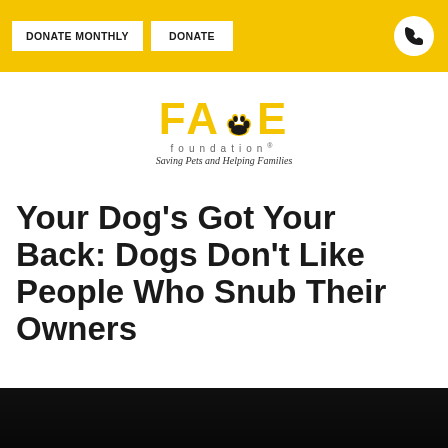DONATE MONTHLY | DONATE
[Figure (logo): FACE Foundation logo with paw print icon, tagline 'Saving Pets and Helping Families']
Your Dog’s Got Your Back: Dogs Don’t Like People Who Snub Their Owners
[Figure (photo): Dark/black image at the bottom of the page, partially visible, appears to be a dog photo]